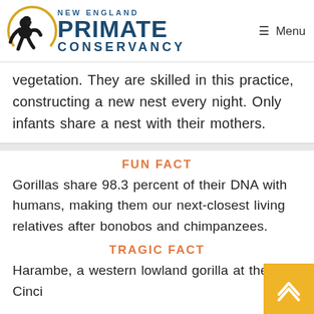New England Primate Conservancy — Menu
vegetation. They are skilled in this practice, constructing a new nest every night. Only infants share a nest with their mothers.
FUN FACT
Gorillas share 98.3 percent of their DNA with humans, making them our next-closest living relatives after bonobos and chimpanzees.
TRAGIC FACT
Harambe, a western lowland gorilla at the Cinci